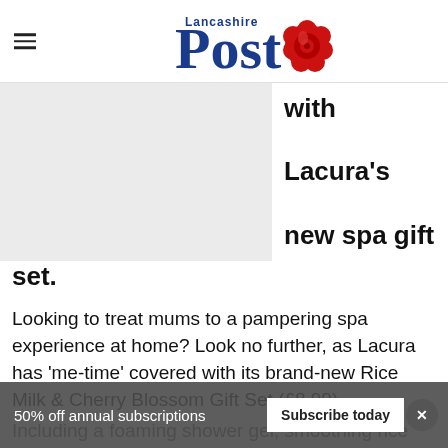Lancashire Post
[Figure (photo): Image placeholder (grey box) showing a product photo, partially visible alongside article title text]
with Lacura's new spa gift set.
Looking to treat mums to a pampering spa experience at home? Look no further, as Lacura has 'me-time' covered with its brand-new Rice Milk & Cherry Blossom Gift Set (£8.99).
Including a foaming shower gel, smoothing rice body scrub, nourishing hand lotion and relaxi…
50% off annual subscriptions   Subscribe today   ×